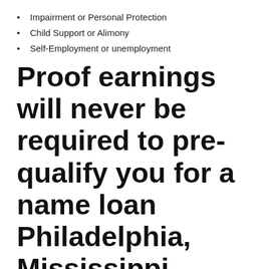Impairment or Personal Protection
Child Support or Alimony
Self-Employment or unemployment
Proof earnings will never be required to pre-qualify you for a name loan Philadelphia, Mississippi.